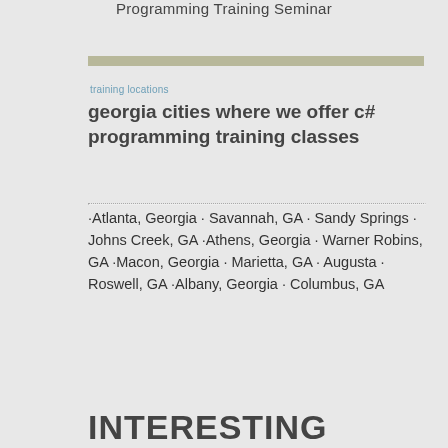Programming Training Seminar
training locations
georgia cities where we offer c# programming training classes
·Atlanta, Georgia · Savannah, GA · Sandy Springs · Johns Creek, GA ·Athens, Georgia · Warner Robins, GA ·Macon, Georgia · Marietta, GA · Augusta · Roswell, GA ·Albany, Georgia · Columbus, GA
INTERESTING